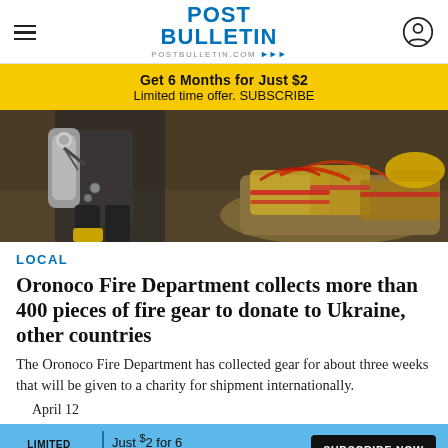POST BULLETIN postbulletin.com
Get 6 Months for Just $2
Limited time offer. SUBSCRIBE
[Figure (photo): Firefighter in gear standing next to a pile of yellow fire turnout gear and equipment including helmets, hoses, and suits with reflective stripes on a garage floor.]
LOCAL
Oronoco Fire Department collects more than 400 pieces of fire gear to donate to Ukraine, other countries
The Oronoco Fire Department has collected gear for about three weeks that will be given to a charity for shipment internationally.
April 12
LIMITED TIME! Just $2 for 6 months of news. SUBSCRIBE NOW